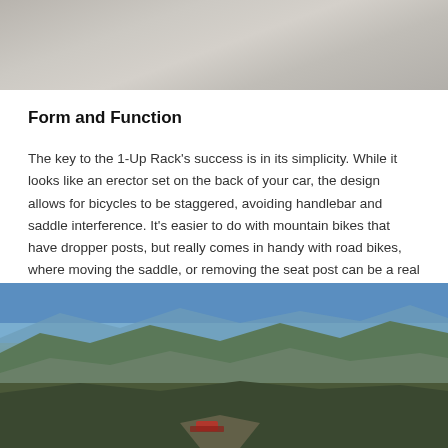[Figure (photo): Close-up photo of sandy/gravelly ground texture, light gray and beige tones]
Form and Function
The key to the 1-Up Rack's success is in its simplicity. While it looks like an erector set on the back of your car, the design allows for bicycles to be staggered, avoiding handlebar and saddle interference. It's easier to do with mountain bikes that have dropper posts, but really comes in handy with road bikes, where moving the saddle, or removing the seat post can be a real pain in the ass, much less impossible with some integrated seat posts.
[Figure (photo): Desert mountain landscape with dry scrub vegetation under a clear blue sky; a red vehicle visible in the lower portion of the image on a dirt road]